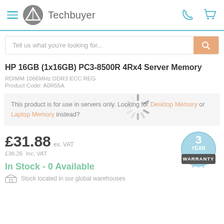Techbuyer
Tell us what you're looking for...
HP 16GB (1x16GB) PC3-8500R 4Rx4 Server Memory
RDIMM 1066MHz DDR3 ECC REG
Product Code: A0R55A
This product is for use in servers only. Looking for Desktop Memory or Laptop Memory instead?
£31.88 ex. VAT
£38.26  Inc. VAT
In Stock - 0 Available
Stock located in our global warehouses